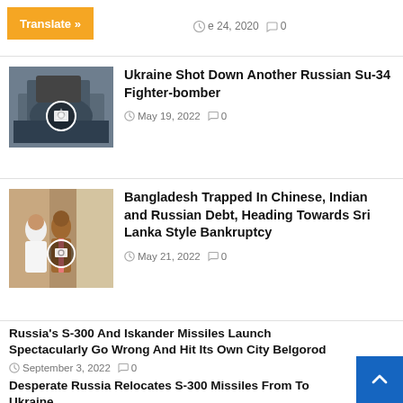[Figure (screenshot): Translate button (orange) and article date June 24, 2020, comments 0]
[Figure (photo): Crashed or downed Russian Su-34 aircraft wreckage]
Ukraine Shot Down Another Russian Su-34 Fighter-bomber
May 19, 2022   0
[Figure (photo): Bangladesh and India leaders photo]
Bangladesh Trapped In Chinese, Indian and Russian Debt, Heading Towards Sri Lanka Style Bankruptcy
May 21, 2022   0
Russia’s S-300 And Iskander Missiles Launch Spectacularly Go Wrong And Hit Its Own City Belgorod
September 3, 2022   0
Desperate Russia Relocates S-300 Missiles From To Ukraine
August 31, 2022   0